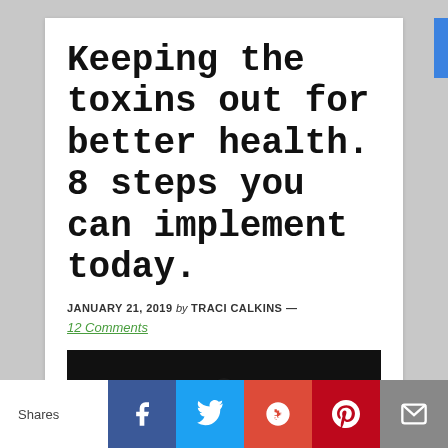Keeping the toxins out for better health. 8 steps you can implement today.
JANUARY 21, 2019 by TRACI CALKINS — 12 Comments
[Figure (photo): Partial view of a person's head/hair against a dark background]
Shares